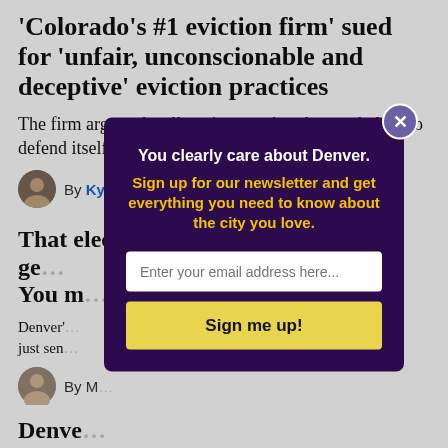‘Colorado’s #1 eviction firm’ sued for ‘unfair, unconscionable and deceptive’ eviction practices
The firm argues the allegations are baseless and plans to defend itself in court.
By Kyle Harris · Aug. 17
That election mailer you’re about to ge… You m…
Denver’… just sen…
By M…
Denve… an ear…
A small…
[Figure (other): Newsletter signup modal overlay with dark purple background. Title: 'You clearly care about Denver.' Subtitle in yellow: 'Sign up for our newsletter and get everything you need to know about the city you love.' Email input field and yellow 'Sign me up!' button. Close X button in upper right.]